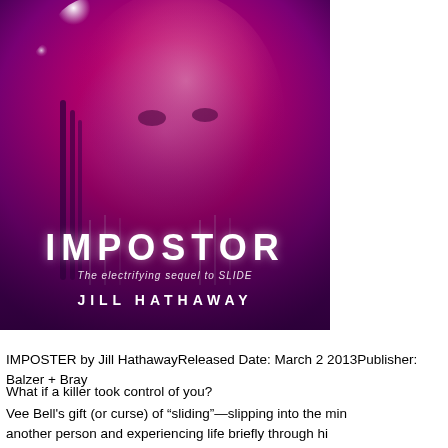[Figure (illustration): Book cover for IMPOSTOR by Jill Hathaway. Pink and purple gradient background with a young woman's face partially visible. Large white text reads 'IMPOSTOR' with tagline 'The electrifying sequel to SLIDE' and author name 'JILL HATHAWAY' at the bottom.]
IMPOSTER by Jill HathawayReleased Date: March 2 2013Publisher: Balzer + Bray
What if a killer took control of you?
Vee Bell's gift (or curse) of "sliding"—slipping into the mind of another person and experiencing life briefly through hi...